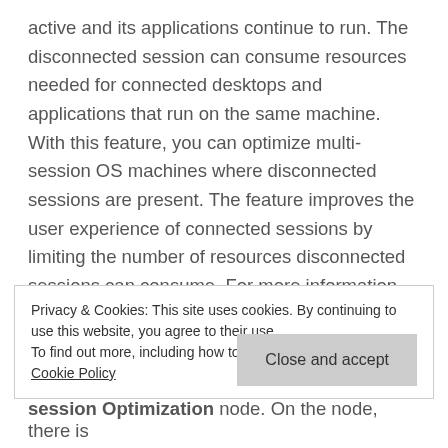active and its applications continue to run. The disconnected session can consume resources needed for connected desktops and applications that run on the same machine. With this feature, you can optimize multi-session OS machines where disconnected sessions are present. The feature improves the user experience of connected sessions by limiting the number of resources disconnected sessions can consume. For more information, see Multi-session Optimization.
Privacy & Cookies: This site uses cookies. By continuing to use this website, you agree to their use. To find out more, including how to control cookies, see here: Cookie Policy
Close and accept
session Optimization node. On the node, there is